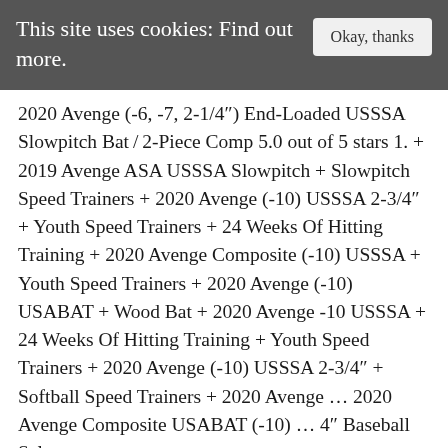This site uses cookies: Find out more. [Okay, thanks]
2020 Avenge (-6, -7, 2-1/4") End-Loaded USSSA Slowpitch Bat / 2-Piece Comp 5.0 out of 5 stars 1. + 2019 Avenge ASA USSSA Slowpitch + Slowpitch Speed Trainers + 2020 Avenge (-10) USSSA 2-3/4" + Youth Speed Trainers + 24 Weeks Of Hitting Training + 2020 Avenge Composite (-10) USSSA + Youth Speed Trainers + 2020 Avenge (-10) USABAT + Wood Bat + 2020 Avenge -10 USSSA + 24 Weeks Of Hitting Training + Youth Speed Trainers + 2020 Avenge (-10) USSSA 2-3/4" + Softball Speed Trainers + 2020 Avenge ... 2020 Avenge Composite USABAT (-10) ... 4" Baseball Sel...